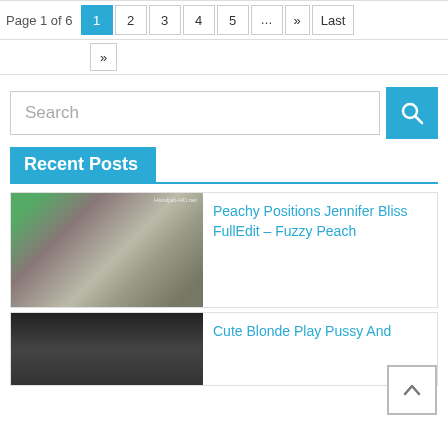Page 1 of 6  1  2  3  4  5  ...  »  Last  »
[Figure (screenshot): Search bar with text input field labeled 'Search' and a blue search button with magnifying glass icon]
Recent Posts
[Figure (photo): Thumbnail photo for post 'Peachy Positions Jennifer Bliss FullEdit – Fuzzy Peach']
Peachy Positions Jennifer Bliss FullEdit – Fuzzy Peach
[Figure (photo): Thumbnail photo for post 'Cute Blonde Play Pussy And']
Cute Blonde Play Pussy And